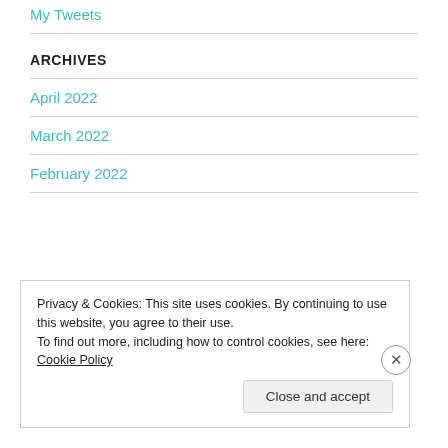My Tweets
ARCHIVES
April 2022
March 2022
February 2022
Privacy & Cookies: This site uses cookies. By continuing to use this website, you agree to their use.
To find out more, including how to control cookies, see here: Cookie Policy
Close and accept